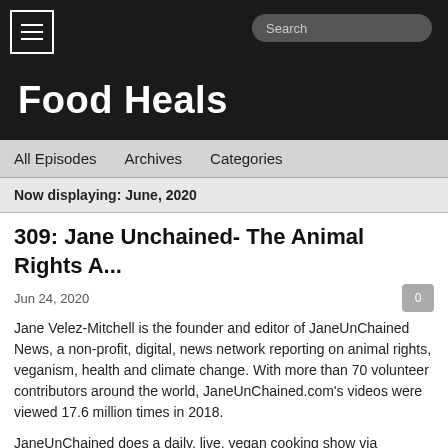Food Heals
All Episodes   Archives   Categories
Now displaying: June, 2020
309: Jane Unchained- The Animal Rights A...
Jun 24, 2020
Jane Velez-Mitchell is the founder and editor of JaneUnChained News, a non-profit, digital, news network reporting on animal rights, veganism, health and climate change. With more than 70 volunteer contributors around the world, JaneUnChained.com's videos were viewed 17.6 million times in 2018.
JaneUnChained does a daily, live, vegan cooking show via facebook.com/JaneVelezMitchell called #LunchbreakLIVE that has featured many of the best vegan chefs and restaurants in the world.